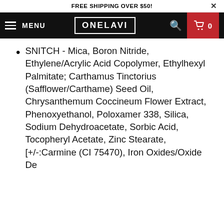FREE SHIPPING OVER $50!
[Figure (screenshot): ONELAVI website navigation bar with menu, logo, search and cart icons]
SNITCH - Mica, Boron Nitride, Ethylene/Acrylic Acid Copolymer, Ethylhexyl Palmitate; Carthamus Tinctorius (Safflower/Carthame) Seed Oil, Chrysanthemum Coccineum Flower Extract, Phenoxyethanol, Poloxamer 338, Silica, Sodium Dehydroacetate, Sorbic Acid, Tocopheryl Acetate, Zinc Stearate, [+/-:Carmine (CI 75470), Iron Oxides/Oxide De